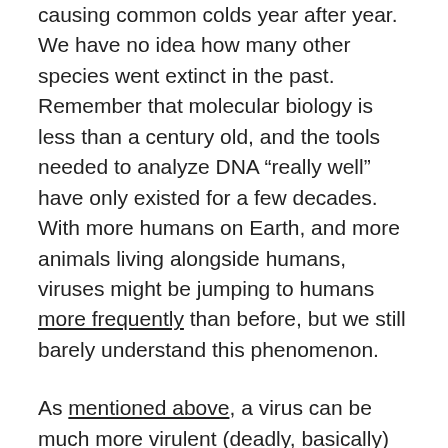causing common colds year after year. We have no idea how many other species went extinct in the past. Remember that molecular biology is less than a century old, and the tools needed to analyze DNA “really well” have only existed for a few decades. With more humans on Earth, and more animals living alongside humans, viruses might be jumping to humans more frequently than before, but we still barely understand this phenomenon.
As mentioned above, a virus can be much more virulent (deadly, basically) in a new host species right after it jumps to that species. But if something can adapt enough to jump between species, that same flexibility means it can continue evolving, and probably in a less-dangerous direction, because the